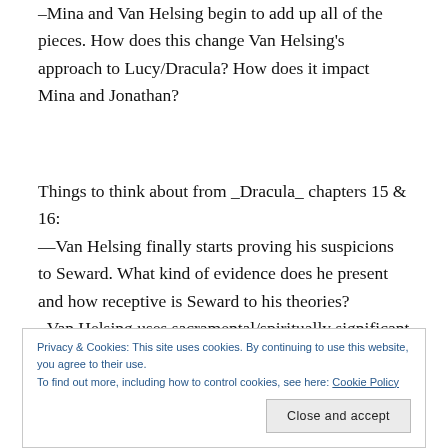–Mina and Van Helsing begin to add up all of the pieces. How does this change Van Helsing's approach to Lucy/Dracula? How does it impact Mina and Jonathan?
Things to think about from _Dracula_ chapters 15 & 16: —Van Helsing finally starts proving his suspicions to Seward. What kind of evidence does he present and how receptive is Seward to his theories? –Van Helsing uses sacramental/spiritually significant items to keep Lucy in or out of her tomb. Why/how does this work?
Privacy & Cookies: This site uses cookies. By continuing to use this website, you agree to their use. To find out more, including how to control cookies, see here: Cookie Policy
Close and accept